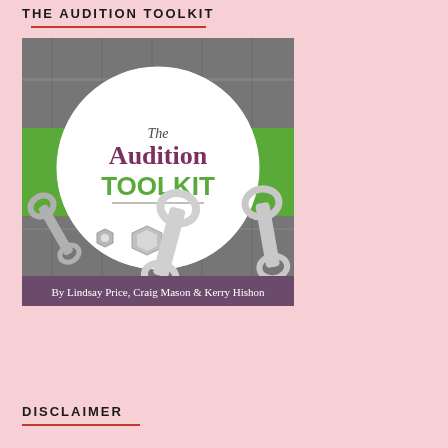THE AUDITION TOOLKIT
[Figure (illustration): Book cover for 'The Audition Toolkit' by Lindsay Price, Craig Mason & Kerry Hishon. Features a gray wood background with a white circle containing the title text. 'The' and 'Audition' in dark purple/maroon, 'TOOLKIT' in green. A green band crosses the middle. Bottom half shows black and white wrenches and nuts/bolts. Footer purple band reads 'By Lindsay Price, Craig Mason & Kerry Hishon'.]
DISCLAIMER